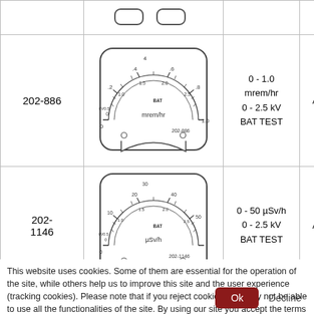| Part | Image | Range | Model |
| --- | --- | --- | --- |
|  |  |  |  |
| 202-886 | [meter image] | 0 - 1.0 mrem/hr
0 - 2.5 kV
BAT TEST | Any |
| 202-1146 | [meter image] | 0 - 50 µSv/h
0 - 2.5 kV
BAT TEST | Any |
[Figure (illustration): Analog meter face labeled 202-886, showing scales for mrem/hr (0-1.0) and kV (0-2.5), with BAT TEST position]
[Figure (illustration): Analog meter face labeled 202-1146, showing scales for µSv/h (0-50) and kV (0-2.5), with BAT TEST position]
This website uses cookies. Some of them are essential for the operation of the site, while others help us to improve this site and the user experience (tracking cookies). Please note that if you reject cookies, you may not be able to use all the functionalities of the site. By using our site you accept the terms of our Privacy Policy.